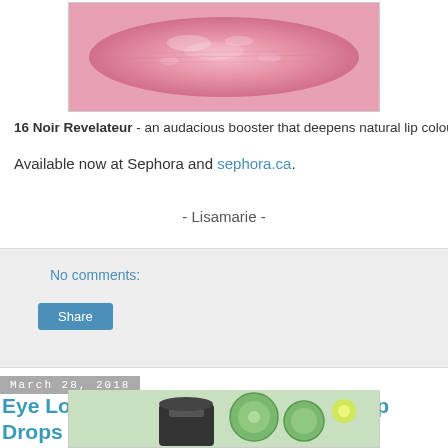[Figure (photo): Close-up photo of pink lips with glossy texture inside a bordered frame]
16 Noir Revelateur - an audacious booster that deepens natural lip colour
Available now at Sephora and sephora.ca.
- Lisamarie -
No comments:
Share
March 28, 2018
Eye Love Wednesday - The Body Shop Drops Of Youth Bouncy Eye Mask
[Figure (photo): Photo of The Body Shop Drops Of Youth Bouncy Eye Mask product with cucumber slices and green flower]